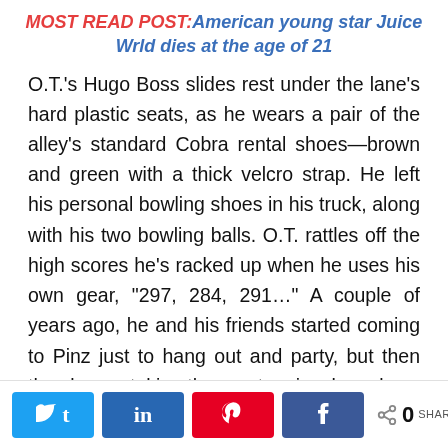MOST READ POST: American young star Juice Wrld dies at the age of 21
O.T.'s Hugo Boss slides rest under the lane's hard plastic seats, as he wears a pair of the alley's standard Cobra rental shoes—brown and green with a thick velcro strap. He left his personal bowling shoes in his truck, along with his two bowling balls. O.T. rattles off the high scores he's racked up when he uses his own gear, "297, 284, 291…" A couple of years ago, he and his friends started coming to Pinz just to hang out and party, but then they began taking the sport seriously and